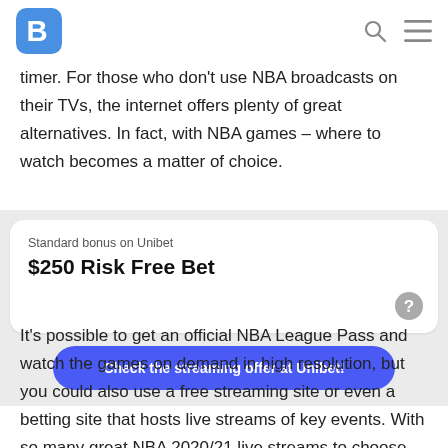B [logo] | [search icon] [menu icon]
timer. For those who don't use NBA broadcasts on their TVs, the internet offers plenty of great alternatives. In fact, with NBA games – where to watch becomes a matter of choice.
Standard bonus on Unibet
$250 Risk Free Bet
Check the streaming offer at Unibet!
It's possible to get an official NBA League Pass and watch the games on demand in high resolution, but you could also use a free streaming site or even a betting site that hosts live streams of key events. With so many great NBA 2020/21 live streams to choose